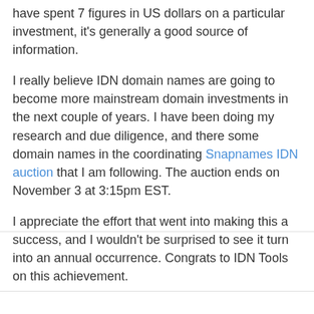have spent 7 figures in US dollars on a particular investment, it's generally a good source of information.
I really believe IDN domain names are going to become more mainstream domain investments in the next couple of years. I have been doing my research and due diligence, and there some domain names in the coordinating Snapnames IDN auction that I am following. The auction ends on November 3 at 3:15pm EST.
I appreciate the effort that went into making this a success, and I wouldn't be surprised to see it turn into an annual occurrence. Congrats to IDN Tools on this achievement.